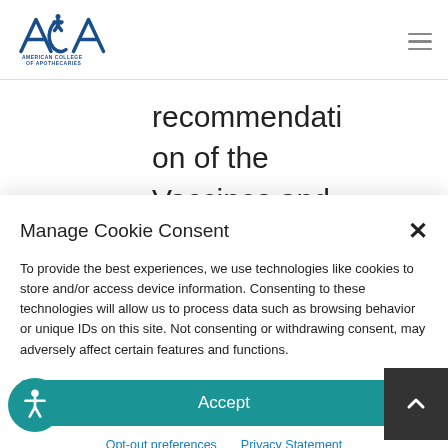[Figure (logo): American College of Apothecaries (ACA) logo with stylized letters and text below]
recommendati on of the Vaccines and
Manage Cookie Consent
To provide the best experiences, we use technologies like cookies to store and/or access device information. Consenting to these technologies will allow us to process data such as browsing behavior or unique IDs on this site. Not consenting or withdrawing consent, may adversely affect certain features and functions.
Accept
Opt-out preferences   Privacy Statement